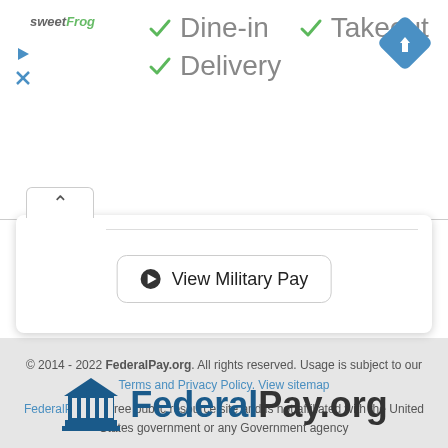[Figure (screenshot): Ad banner with sweetFrog logo and check marks for Dine-in, Takeout, Delivery options, plus a blue navigation/directions diamond icon]
[Figure (screenshot): Card UI element with collapse arrow button and 'View Military Pay' button with play icon]
© 2014 - 2022 FederalPay.org. All rights reserved. Usage is subject to our Terms and Privacy Policy. View sitemap

FederalPay is a free public resource site and is not affiliated with the United States government or any Government agency
[Figure (logo): FederalPay.org logo with blue government building icon]